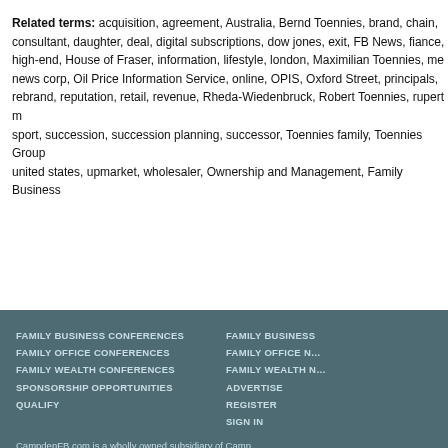Related terms: acquisition, agreement, Australia, Bernd Toennies, brand, chain, consultant, daughter, deal, digital subscriptions, dow jones, exit, FB News, fiance, high-end, House of Fraser, information, lifestyle, london, Maximilian Toennies, news corp, Oil Price Information Service, online, OPIS, Oxford Street, principals, rebrand, reputation, retail, revenue, Rheda-Wiedenbruck, Robert Toennies, rupert m, sport, succession, succession planning, successor, Toennies family, Toennies Group, united states, upmarket, wholesaler, Ownership and Management, Family Business
FAMILY BUSINESS CONFERENCES | FAMILY OFFICE CONFERENCES | FAMILY WEALTH CONFERENCES | SPONSORSHIP OPPORTUNITIES | QUALIFY | FAMILY BUSINESS | FAMILY OFFICE N | FAMILY WEALTH N | ADVERTISE | REGISTER | SIGN IN | CampdenFB.com is a wholly owned subsidiary of Camp | © 2001-2022 CampdenFB.com. All rights reserved. Conditions.